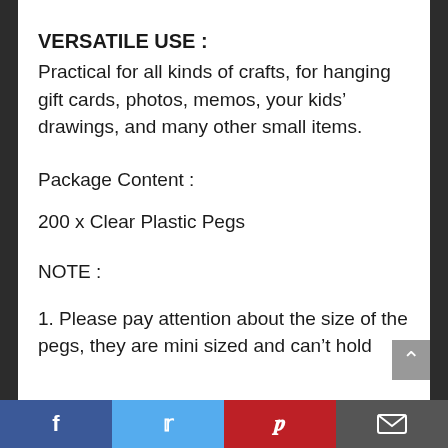VERSATILE USE :
Practical for all kinds of crafts, for hanging gift cards, photos, memos, your kids’ drawings, and many other small items.
Package Content :
200 x Clear Plastic Pegs
NOTE :
1. Please pay attention about the size of the pegs, they are mini sized and can’t hold
Facebook | Twitter | Pinterest | Email